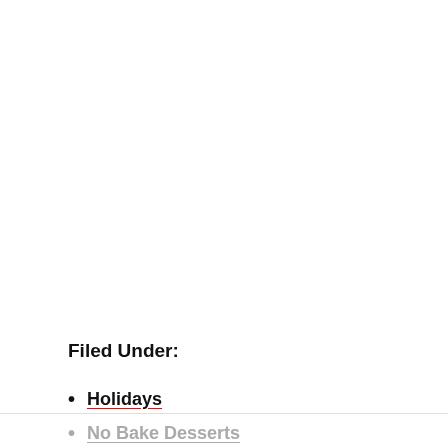Filed Under:
Holidays
No Bake Desserts